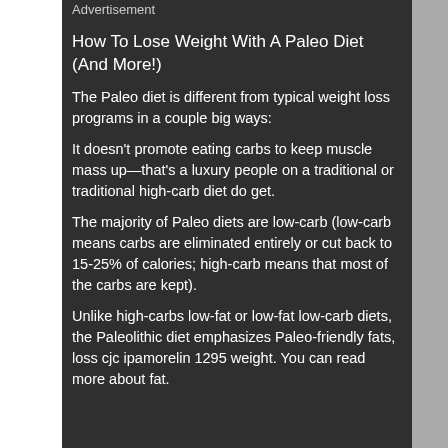Advertisement
How To Lose Weight With A Paleo Diet (And More!)
The Paleo diet is different from typical weight loss programs in a couple big ways:
It doesn't promote eating carbs to keep muscle mass up—that's a luxury people on a traditional or traditional high-carb diet do get.
The majority of Paleo diets are low-carb (low-carb means carbs are eliminated entirely or cut back to 15-25% of calories; high-carb means that most of the carbs are kept).
Unlike high-carbs low-fat or low-fat low-carb diets, the Paleolithic diet emphasizes Paleo-friendly fats, loss cjc ipamorelin 1295 weight. You can read more about fat.